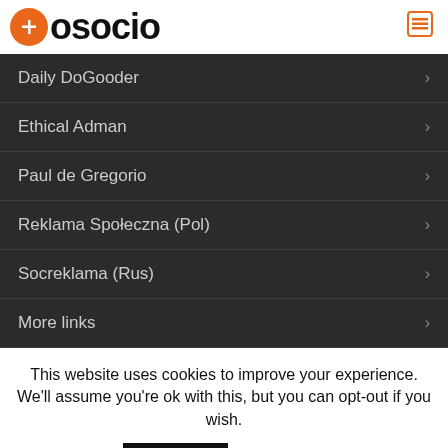aosocio
Daily DoGooder
Ethical Adman
Paul de Gregorio
Reklama Społeczna (Pol)
Socreklama (Rus)
More links
This website uses cookies to improve your experience. We'll assume you're ok with this, but you can opt-out if you wish.
Accept  Read More